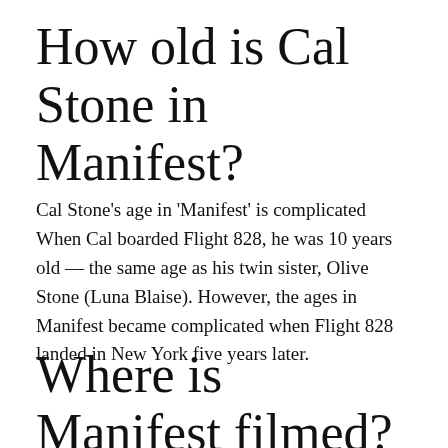How old is Cal Stone in Manifest?
Cal Stone's age in 'Manifest' is complicated When Cal boarded Flight 828, he was 10 years old — the same age as his twin sister, Olive Stone (Luna Blaise). However, the ages in Manifest became complicated when Flight 828 landed in New York five years later.
Where is Manifest filmed?